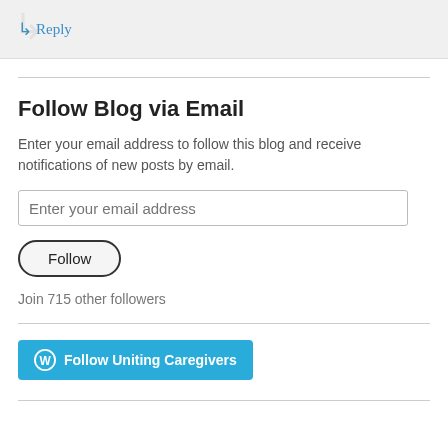↳ Reply
Follow Blog via Email
Enter your email address to follow this blog and receive notifications of new posts by email.
Enter your email address
Follow
Join 715 other followers
Follow Uniting Caregivers